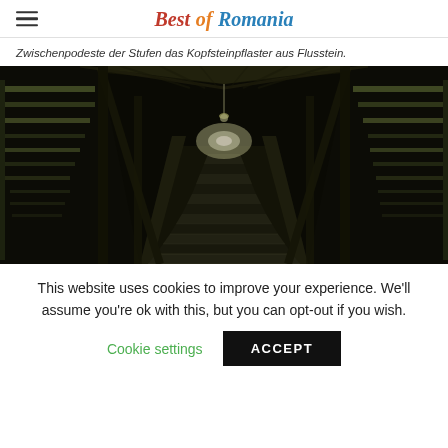Best of Romania
Zwischenpodeste der Stufen das Kopfsteinpflaster aus Flusstein.
[Figure (photo): Interior view of a covered wooden staircase with stone steps, wooden beams forming a tunnel-like corridor, light filtering through slatted wooden walls, perspective converging toward a lit opening at the far end.]
This website uses cookies to improve your experience. We'll assume you're ok with this, but you can opt-out if you wish.
Cookie settings    ACCEPT